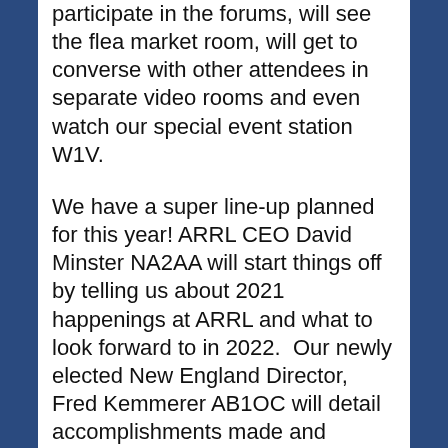participate in the forums, will see the flea market room, will get to converse with other attendees in separate video rooms and even watch our special event station W1V.
We have a super line-up planned for this year! ARRL CEO David Minster NA2AA will start things off by telling us about 2021 happenings at ARRL and what to look forward to in 2022.  Our newly elected New England Director, Fred Kemmerer AB1OC will detail accomplishments made and planned for in his first 100 days in office. Dave Casler KE0OG, author of the “Ask Dave”